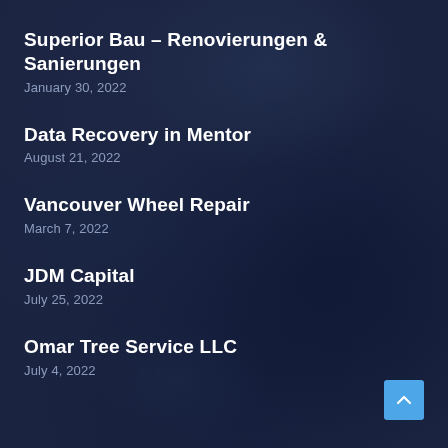Superior Bau – Renovierungen & Sanierungen
January 30, 2022
Data Recovery in Mentor
August 21, 2022
Vancouver Wheel Repair
March 7, 2022
JDM Capital
July 25, 2022
Omar Tree Service LLC
July 4, 2022